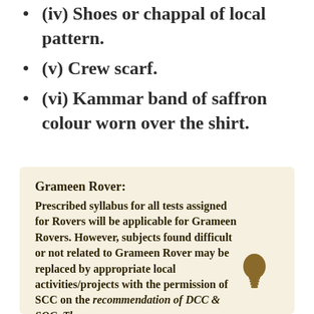(iv) Shoes or chappal of local pattern.
(v) Crew scarf.
(vi) Kammar band of saffron colour worn over the shirt.
Grameen Rover: Prescribed syllabus for all tests assigned for Rovers will be applicable for Grameen Rovers. However, subjects found difficult or not related to Grameen Rover may be replaced by appropriate local activities/projects with the permission of SCC on the recommendation of DCC & SOC. The